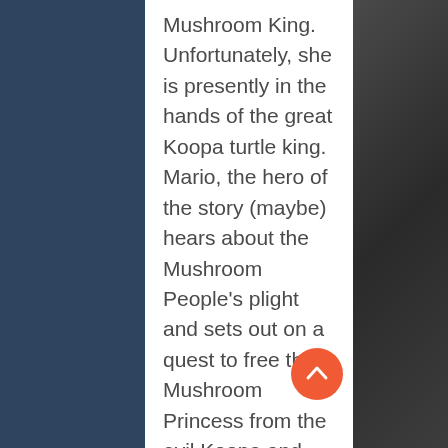Mushroom King. Unfortunately, she is presently in the hands of the great Koopa turtle king. Mario, the hero of the story (maybe) hears about the Mushroom People's plight and sets out on a quest to free the Mushroom Princess from the evil Koopa and restore the fallen kingdom of the Mushroom People.You are Mario! It's up to you to save the Mushroom People from the black magic of the Koopa! Gameplay Super Mario Bros. is divided into eight worlds, each of them containing four levels. Mario (or, in the case of a second player, his brother Luigi) has to get to the end of the level by jumping over various gaps and avoiding the enemies on his way. He can